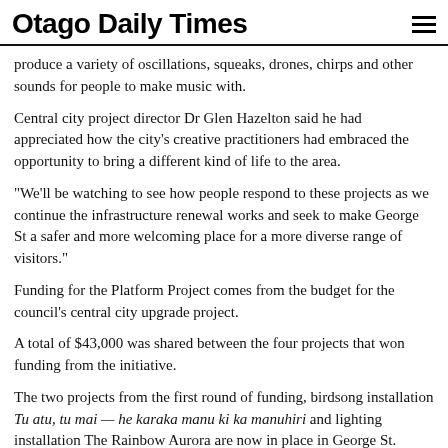Otago Daily Times
produce a variety of oscillations, squeaks, drones, chirps and other sounds for people to make music with.
Central city project director Dr Glen Hazelton said he had appreciated how the city's creative practitioners had embraced the opportunity to bring a different kind of life to the area.
"We'll be watching to see how people respond to these projects as we continue the infrastructure renewal works and seek to make George St a safer and more welcoming place for a more diverse range of visitors."
Funding for the Platform Project comes from the budget for the council's central city upgrade project.
A total of $43,000 was shared between the four projects that won funding from the initiative.
The two projects from the first round of funding, birdsong installation Tu atu, tu mai — he karaka manu ki ka manuhiri and lighting installation The Rainbow Aurora are now in place in George St.